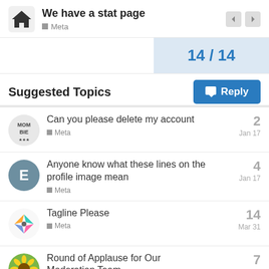We have a stat page — Meta
14 / 14
Reply
Suggested Topics
Can you please delete my account — Meta — 2 replies — Jan 17
Anyone know what these lines on the profile image mean — Meta — 4 replies — Jan 17
Tagline Please — Meta — 14 replies — Mar 31
Round of Applause for Our Moderation Team — 7 replies